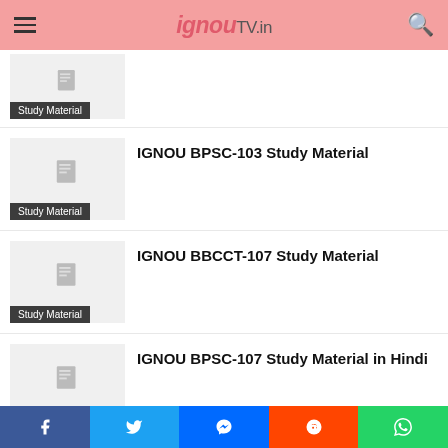ignouTV.in
[Figure (screenshot): Thumbnail placeholder with document icon and Study Material label]
[Figure (screenshot): Thumbnail placeholder with document icon and Study Material label]
IGNOU BPSC-103 Study Material
[Figure (screenshot): Thumbnail placeholder with document icon and Study Material label]
IGNOU BBCCT-107 Study Material
[Figure (screenshot): Thumbnail placeholder with document icon and Study Material label]
IGNOU BPSC-107 Study Material in Hindi
Facebook Twitter Messenger Reddit WhatsApp